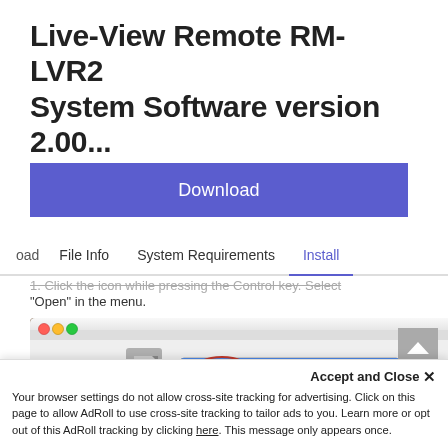Live-View Remote RM-LVR2 System Software version 2.00...
[Figure (screenshot): Blue Download button on a software download page]
oad   File Info   System Requirements   Install
1. Click the icon while pressing the Control key. Select "Open" in the menu.
[Figure (screenshot): macOS context menu showing Open, Show Package Contents, Get Info, Compress FirmwareUpdater options with Open highlighted in blue and circled in red. Window title shows Update_CA and FirmwareUpdater label visible.]
Accept and Close ×
Your browser settings do not allow cross-site tracking for advertising. Click on this page to allow AdRoll to use cross-site tracking to tailor ads to you. Learn more or opt out of this AdRoll tracking by clicking here. This message only appears once.